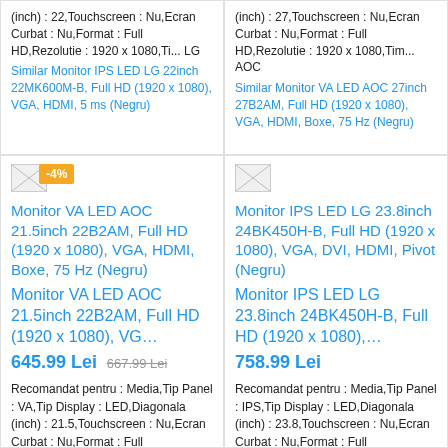(inch) : 22, Touchscreen : Nu, Ecran Curbat : Nu, Format : Full HD, Rezolutie : 1920 x 1080, Ti... LG
Similar Monitor IPS LED LG 22inch 22MK600M-B, Full HD (1920 x 1080), VGA, HDMI, 5 ms (Negru)
(inch) : 27, Touchscreen : Nu, Ecran Curbat : Nu, Format : Full HD, Rezolutie : 1920 x 1080, Tim... AOC
Similar Monitor VA LED AOC 27inch 27B2AM, Full HD (1920 x 1080), VGA, HDMI, Boxe, 75 Hz (Negru)
[Figure (screenshot): Product image placeholder for Monitor VA LED AOC 21.5inch 22B2AM with -4% discount badge]
Monitor VA LED AOC 21.5inch 22B2AM, Full HD (1920 x 1080), VGA, HDMI, Boxe, 75 Hz (Negru)
Monitor VA LED AOC 21.5inch 22B2AM, Full HD (1920 x 1080), VG...
645.99 Lei  667.99 Lei
Recomandat pentru : Media, Tip Panel : VA, Tip Display : LED, Diagonala (inch) : 21.5, Touchscreen : Nu, Ecran Curbat : Nu, Format : Full HD, Rezolutie : 1920 x 1080, T... AOC
[Figure (screenshot): Product image placeholder for Monitor IPS LED LG 23.8inch 24BK450H-B]
Monitor IPS LED LG 23.8inch 24BK450H-B, Full HD (1920 x 1080), VGA, DVI, HDMI, Pivot (Negru)
Monitor IPS LED LG 23.8inch 24BK450H-B, Full HD (1920 x 1080),...
758.99 Lei
Recomandat pentru : Media, Tip Panel : IPS, Tip Display : LED, Diagonala (inch) : 23.8, Touchscreen : Nu, Ecran Curbat : Nu, Format : Full HD, Rezolutie : 1920 x 1080,... LG